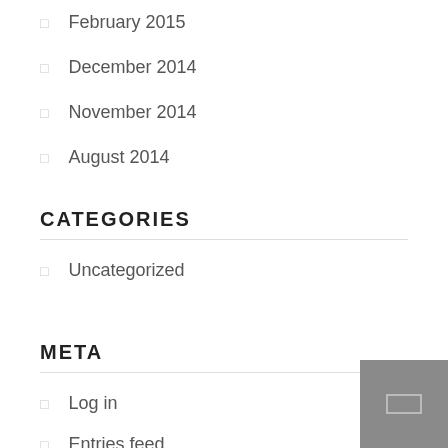February 2015
December 2014
November 2014
August 2014
CATEGORIES
Uncategorized
META
Log in
Entries feed